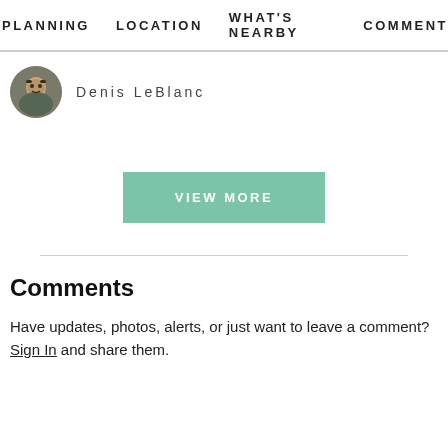PLANNING  LOCATION  WHAT'S NEARBY  COMMENT
Denis LeBlanc
[Figure (other): Circular avatar photo of Denis LeBlanc]
VIEW MORE
Comments
Have updates, photos, alerts, or just want to leave a comment?
Sign In and share them.